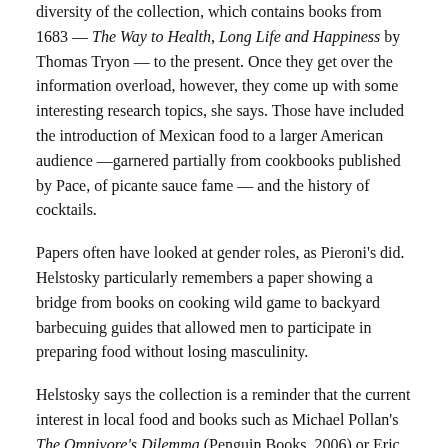diversity of the collection, which contains books from 1683 — The Way to Health, Long Life and Happiness by Thomas Tryon — to the present. Once they get over the information overload, however, they come up with some interesting research topics, she says. Those have included the introduction of Mexican food to a larger American audience —garnered partially from cookbooks published by Pace, of picante sauce fame — and the history of cocktails.
Papers often have looked at gender roles, as Pieroni's did. Helstosky particularly remembers a paper showing a bridge from books on cooking wild game to backyard barbecuing guides that allowed men to participate in preparing food without losing masculinity.
Helstosky says the collection is a reminder that the current interest in local food and books such as Michael Pollan's The Omnivore's Dilemma (Penguin Books, 2006) or Eric Schlosser's Fast Food Nation (Houghton Mifflin, 2001) are not as new as they may seem.
Read helpful hints from the Husted collection here
“People have always been very conscious of the place of food in their